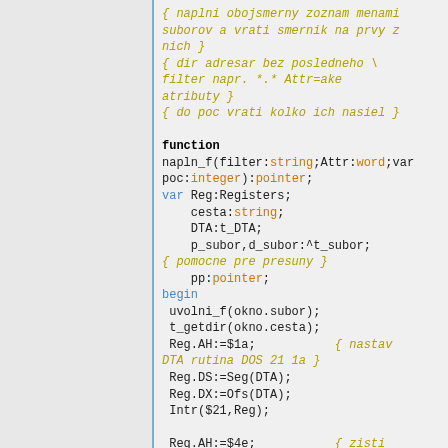{ naplni obojsmerny zoznam menami suborov a vrati smernik na prvy z nich }
{ dir adresar bez posledneho \ filter napr. *.* Attr=ake atributy }
{ do poc vrati kolko ich nasiel }

function napln_f(filter:string;Attr:word;var poc:integer):pointer;
var Reg:Registers;
    cesta:string;
    DTA:t_DTA;
    p_subor,d_subor:^t_subor;
{ pomocne pre presuny }
    pp:pointer;
begin
 uvolni_f(okno.subor);
 t_getdir(okno.cesta);
 Reg.AH:=$1a;           { nastav DTA rutina DOS 21 1a }
 Reg.DS:=Seg(DTA);
 Reg.DX:=Ofs(DTA);
 Intr($21,Reg);

 Reg.AH:=$4e;           { zisti prvy subor rutina DOS 21 4e }

 cesta:=okno.cesta+'\'+filter+chr(0);